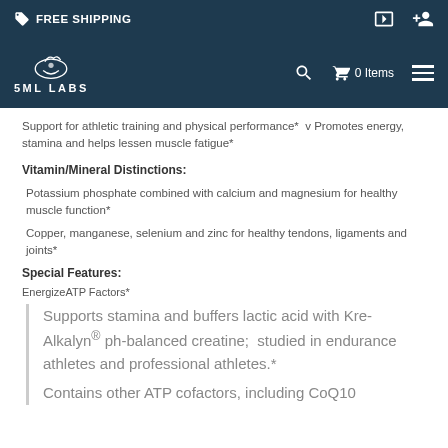FREE SHIPPING
[Figure (logo): 5ML LABS logo with leaf/plant icon on dark navy background, with search icon, cart showing 0 Items, and hamburger menu]
Support for athletic training and physical performance* v Promotes energy, stamina and helps lessen muscle fatigue*
Vitamin/Mineral Distinctions:
Potassium phosphate combined with calcium and magnesium for healthy muscle function*
Copper, manganese, selenium and zinc for healthy tendons, ligaments and joints*
Special Features:
EnergizeATP Factors*
Supports stamina and buffers lactic acid with Kre-Alkalyn® ph-balanced creatine; studied in endurance athletes and professional athletes.*
Contains other ATP cofactors, including CoQ10